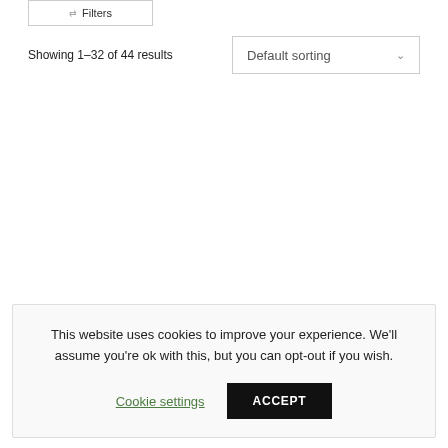Filters
Showing 1–32 of 44 results
Default sorting
This website uses cookies to improve your experience. We'll assume you're ok with this, but you can opt-out if you wish.
Cookie settings
ACCEPT